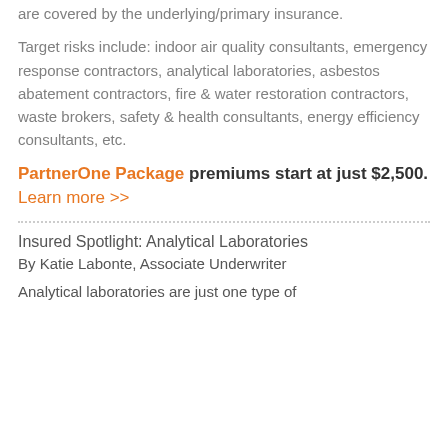are covered by the underlying/primary insurance.
Target risks include: indoor air quality consultants, emergency response contractors, analytical laboratories, asbestos abatement contractors, fire & water restoration contractors, waste brokers, safety & health consultants, energy efficiency consultants, etc.
PartnerOne Package premiums start at just $2,500. Learn more >>
Insured Spotlight: Analytical Laboratories
By Katie Labonte, Associate Underwriter
Analytical laboratories are just one type of